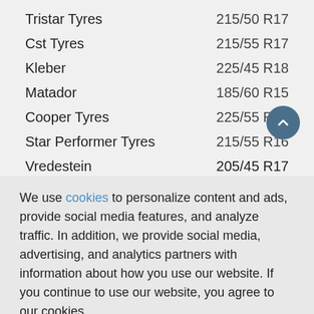Tristar Tyres   215/50 R17
Cst Tyres   215/55 R17
Kleber   225/45 R18
Matador   185/60 R15
Cooper Tyres   225/55 R17
Star Performer Tyres   215/55 R16
Vredestein   205/45 R17
We use cookies to personalize content and ads, provide social media features, and analyze traffic. In addition, we provide social media, advertising, and analytics partners with information about how you use our website. If you continue to use our website, you agree to our cookies.
Edit setting   Accept